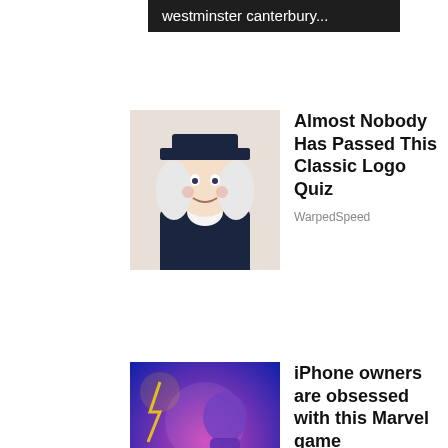[Figure (screenshot): Dark banner at top with text 'westminster canterbury...' in white on black background]
[Figure (illustration): Illustration of a colonial-era man with white wig and hat]
Almost Nobody Has Passed This Classic Logo Quiz
WarpedSpeed
[Figure (photo): Marvel Strike Force game promotional image with text 'THERE MUST ALWAYS BE A THOR']
iPhone owners are obsessed with this Marvel game
MARVEL Strike Force
Privacy & Cookies: This site uses cookies. By continuing to use this website, you agree to their use.
To find out more, including how to control cookies, see here: Cookie Policy
Close and accept